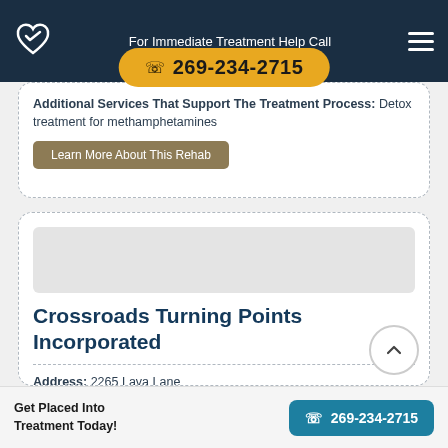For Immediate Treatment Help Call 269-234-2715
Additional Services That Support The Treatment Process: Detox treatment for methamphetamines
Learn More About This Rehab
Crossroads Turning Points Incorporated
Address: 2265 Lava Lane
City: Al...
Get Placed Into Treatment Today!
269-234-2715